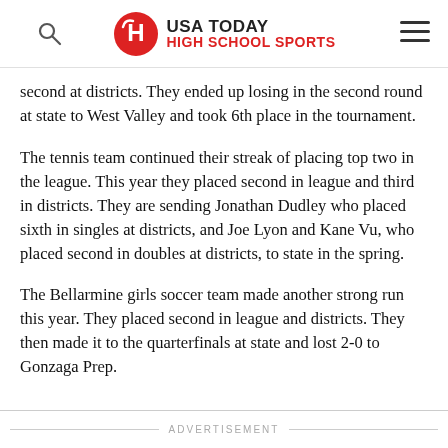USA TODAY HIGH SCHOOL SPORTS
second at districts. They ended up losing in the second round at state to West Valley and took 6th place in the tournament.
The tennis team continued their streak of placing top two in the league. This year they placed second in league and third in districts. They are sending Jonathan Dudley who placed sixth in singles at districts, and Joe Lyon and Kane Vu, who placed second in doubles at districts, to state in the spring.
The Bellarmine girls soccer team made another strong run this year. They placed second in league and districts. They then made it to the quarterfinals at state and lost 2-0 to Gonzaga Prep.
ADVERTISEMENT